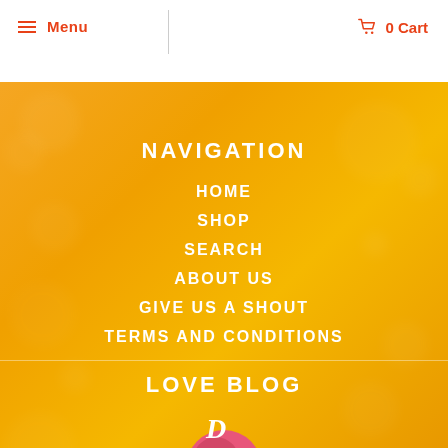☰ Menu | 0 Cart
NAVIGATION
HOME
SHOP
SEARCH
ABOUT US
GIVE US A SHOUT
TERMS AND CONDITIONS
LOVE BLOG
[Figure (photo): Partial view of a circular logo or illustration with pink/red tones on orange background, partially visible at bottom of page]